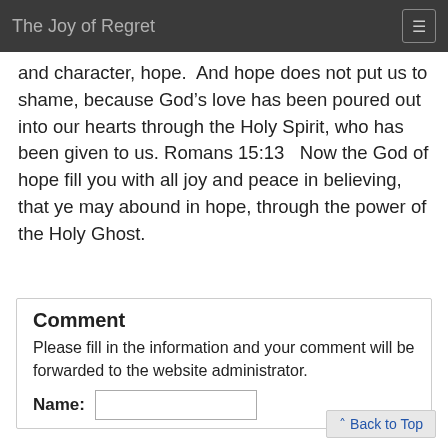The Joy of Regret
and character, hope.  And hope does not put us to shame, because God’s love has been poured out into our hearts through the Holy Spirit, who has been given to us. Romans 15:13   Now the God of hope fill you with all joy and peace in believing, that ye may abound in hope, through the power of the Holy Ghost.
Comment
Please fill in the information and your comment will be forwarded to the website administrator.
Name:
Back to Top